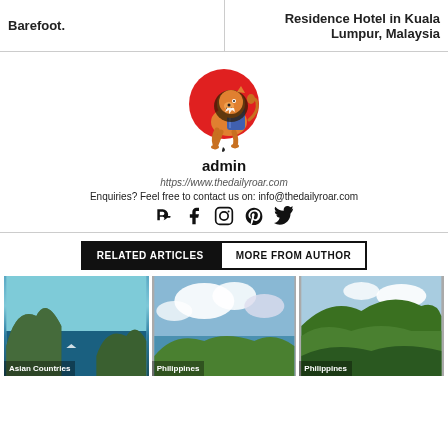Barefoot. | Residence Hotel in Kuala Lumpur, Malaysia
[Figure (logo): The Daily Roar logo: lion with backpack in front of red circle]
admin
https://www.thedailyroar.com
Enquiries? Feel free to contact us on: info@thedailyroar.com
Social media icons: blogger, facebook, instagram, pinterest, twitter
RELATED ARTICLES | MORE FROM AUTHOR
[Figure (photo): Photo of Asian Countries - ocean and islands]
[Figure (photo): Photo of Philippines - lake and clouds]
[Figure (photo): Photo of Philippines - green hills]